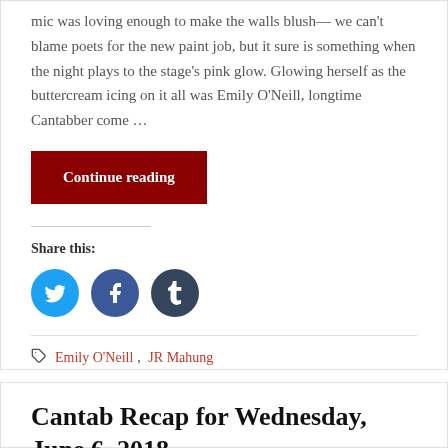mic was loving enough to make the walls blush— we can't blame poets for the new paint job, but it sure is something when the night plays to the stage's pink glow. Glowing herself as the buttercream icing on it all was Emily O'Neill, longtime Cantabber come …
Continue reading
Share this:
[Figure (illustration): Three circular social share icons: Twitter (light blue), Facebook (dark blue), Tumblr (dark navy)]
Emily O'Neill, JR Mahung
Cantab Recap for Wednesday, June 6, 2018